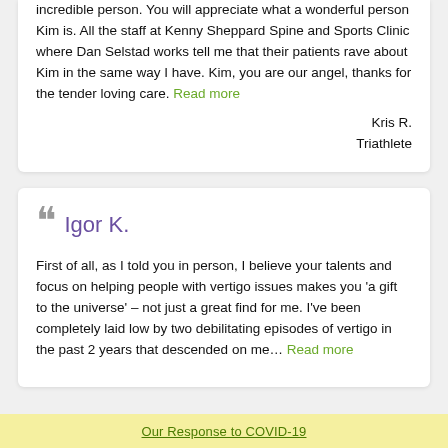incredible person. You will appreciate what a wonderful person Kim is. All the staff at Kenny Sheppard Spine and Sports Clinic where Dan Selstad works tell me that their patients rave about Kim in the same way I have. Kim, you are our angel, thanks for the tender loving care. Read more
Kris R.
Triathlete
Igor K.
First of all, as I told you in person, I believe your talents and focus on helping people with vertigo issues makes you 'a gift to the universe' – not just a great find for me. I've been completely laid low by two debilitating episodes of vertigo in the past 2 years that descended on me… Read more
Our Response to COVID-19